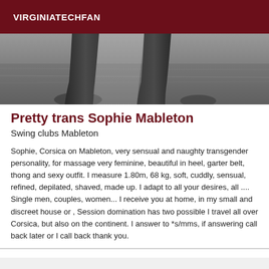VIRGINIATECHFAN
[Figure (photo): Black and white photograph showing legs and lower body near a beach or rocky shore]
Pretty trans Sophie Mableton
Swing clubs Mableton
Sophie, Corsica on Mableton, very sensual and naughty transgender personality, for massage very feminine, beautiful in heel, garter belt, thong and sexy outfit. I measure 1.80m, 68 kg, soft, cuddly, sensual, refined, depilated, shaved, made up. I adapt to all your desires, all .... Single men, couples, women... I receive you at home, in my small and discreet house or , Session domination has two possible I travel all over Corsica, but also on the continent. I answer to *s/mms, if answering call back later or I call back thank you.